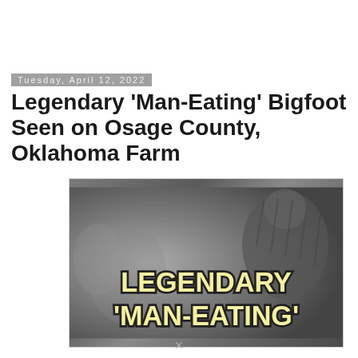Tuesday, April 12, 2022
Legendary 'Man-Eating' Bigfoot Seen on Osage County, Oklahoma Farm
[Figure (photo): Dark grayscale image appearing to show a large shadowy figure, with bold yellow outlined text overlay reading 'LEGENDARY' on the first line and "'MAN-EATING'" on the second line.]